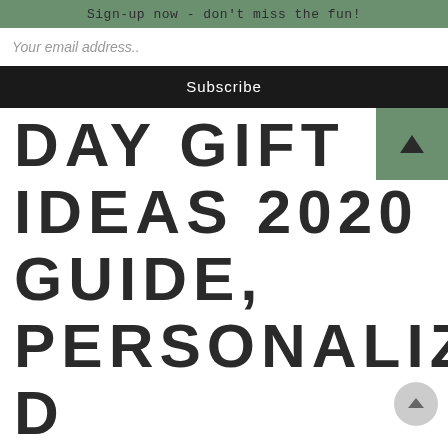Sign-up now - don't miss the fun!
Your email address..
Subscribe
DAY GIFT IDEAS 2020 GUIDE, PERSONALIZED ARTWORK AND UNIQUE